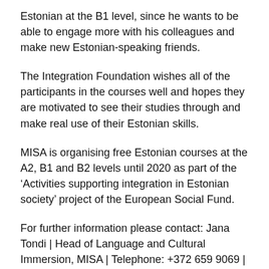Estonian at the B1 level, since he wants to be able to engage more with his colleagues and make new Estonian-speaking friends.
The Integration Foundation wishes all of the participants in the courses well and hopes they are motivated to see their studies through and make real use of their Estonian skills.
MISA is organising free Estonian courses at the A2, B1 and B2 levels until 2020 as part of the ‘Activities supporting integration in Estonian society’ project of the European Social Fund.
For further information please contact: Jana Tondi | Head of Language and Cultural Immersion, MISA | Telephone: +372 659 9069 | E-mail: jana.tondi@meis.ee
Activities of the Counselling Centre of MISA